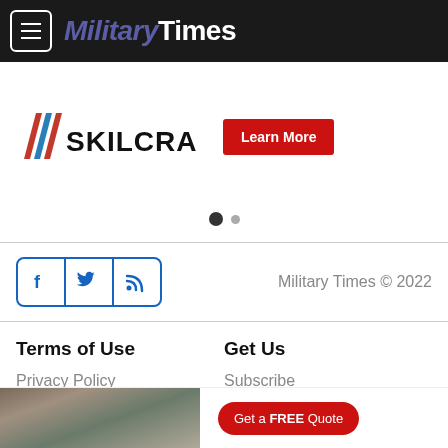Military Times
[Figure (logo): Skilcraft logo with red/blue chevron stripes and Learn More red button]
[Figure (other): Carousel pagination dots — one filled dark, one smaller grey]
Military Times © 2022
Terms of Use
Get Us
Privacy Policy
Subscribe
[Figure (photo): Kitchen interior photo in bottom ad strip with Get a FREE Quote red button]